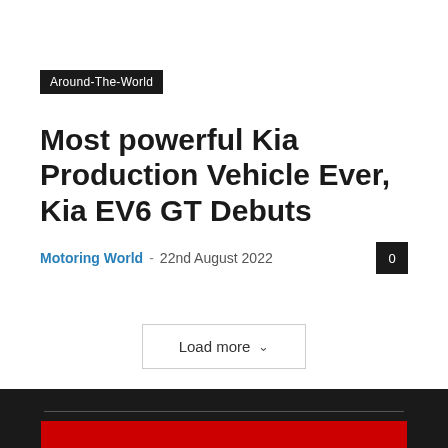Around-The-World
Most powerful Kia Production Vehicle Ever, Kia EV6 GT Debuts
Motoring World  -  22nd August 2022
Load more
[Figure (logo): Motoring World International logo on red background with car illustrations]